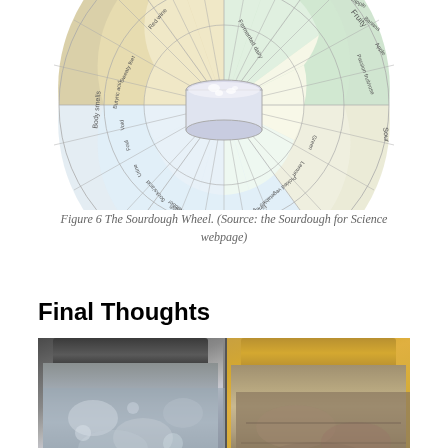[Figure (other): The Sourdough Wheel — a circular flavor/aroma wheel showing categories such as Fermented, Fruity, Sour, Body smells, and subcategories like Alcoholic, Yeasty, Rum, Red wine, Sweaty feet, Butyric acid, Void, Foul, Urine, Socks/acid, Rubber, Methanol found cheese, Butter milk, Sauerkraut, Vinegar, Pickled vegetables, Lemon, Green, Passion fruit/rose, Apple, Banana, Pineapple, Berries, Tropical fruits, Ananas, Made (partially visible)]
Figure 6 The Sourdough Wheel. (Source: the Sourdough for Science webpage)
Final Thoughts
[Figure (photo): Two mason jars side by side. Left jar has a dark/grey metal lid and shows a cloudy/white bubbly sourdough starter. Right jar has a gold/yellow metal lid and shows a brownish sourdough starter.]